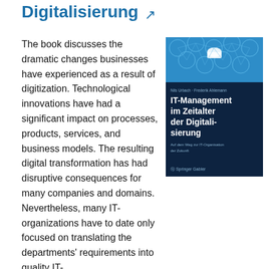Digitalisierung ↗
The book discusses the dramatic changes businesses have experienced as a result of digitization. Technological innovations have had a significant impact on processes, products, services, and business models. The resulting digital transformation has had disruptive consequences for many companies and domains. Nevertheless, many IT-organizations have to date only focused on translating the departments' requirements into quality IT-
[Figure (illustration): Book cover of 'IT-Management im Zeitalter der Digitalisierung' by Nils Urbach and Frederik Ahlemann, published by Springer Gabler. Dark navy background with blue network icons header. Subtitle: Auf dem Weg zur IT-Organisation der Zukunft.]